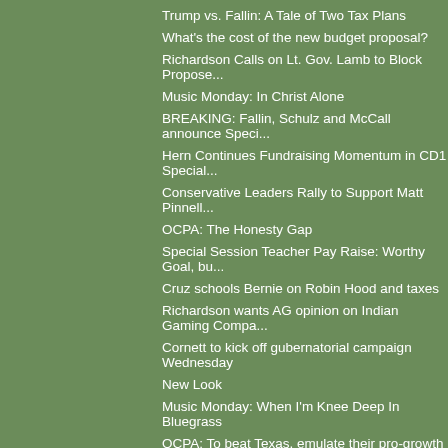Trump vs. Fallin: A Tale of Two Tax Plans
What's the cost of the new budget proposal?
Richardson Calls on Lt. Gov. Lamb to Block Propose...
Music Monday: In Christ Alone
BREAKING: Fallin, Schulz and McCall announce Speci...
Hern Continues Fundraising Momentum in CD1 Special...
Conservative Leaders Rally to Support Matt Pinnell...
OCPA: The Honesty Gap
Special Session Teacher Pay Raise: Worthy Goal, bu...
Cruz schools Bernie on Robin Hood and taxes
Richardson wants AG opinion on Indian Gaming Compa...
Cornett to kick off gubernatorial campaign Wednesday
New Look
Music Monday: When I'm Knee Deep In Bluegrass
OCPA: To beat Texas, emulate their pro-growth poli...
Glen Mulready kicks off Insurance Commissioner cam...
Session on hold: State Capitol closed for one week...